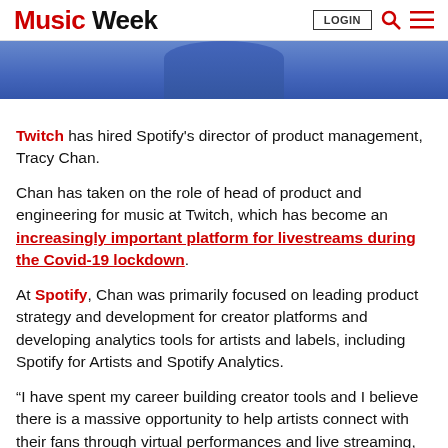Music Week | LOGIN [search] [menu]
[Figure (photo): Person wearing a blue shirt, cropped photo showing bottom portion]
Twitch has hired Spotify's director of product management, Tracy Chan.
Chan has taken on the role of head of product and engineering for music at Twitch, which has become an increasingly important platform for livestreams during the Covid-19 lockdown.
At Spotify, Chan was primarily focused on leading product strategy and development for creator platforms and developing analytics tools for artists and labels, including Spotify for Artists and Spotify Analytics.
“I have spent my career building creator tools and I believe there is a massive opportunity to help artists connect with their fans through virtual performances and live streaming, which is what led me to Twitch,” said Chan. “Across the board, and especially at this moment in time, we are seeing disruption in the music industry as artists are